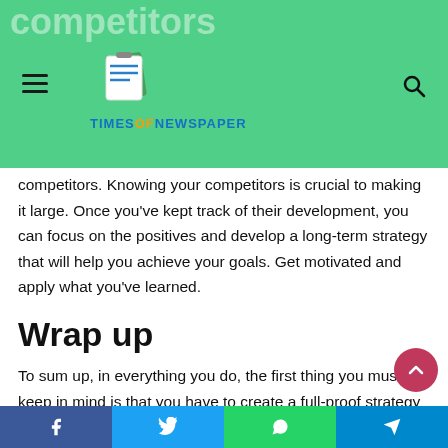TIMESOFNEWSPAPER
competitors. Knowing your competitors is crucial to making it large. Once you've kept track of their development, you can focus on the positives and develop a long-term strategy that will help you achieve your goals. Get motivated and apply what you've learned.
Wrap up
To sum up, in everything you do, the first thing you must keep in mind is that you have to create a full-proof strategy to build credibility in Youtube Marketing for your business.
Establish your goals and work out a strategy surrounding what